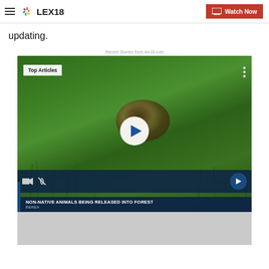LEX18 | Watch Now
updating.
Recent Stories from lex18.com
[Figure (screenshot): Video player showing a tortoise in grass with overlay text 'NON-NATIVE ANIMALS BEING RELEASED INTO FOREST' and location 'BEREA'. Shows Top Articles badge, play button, mute/camera controls, and navigation arrow. Below the video is a grey content area.]